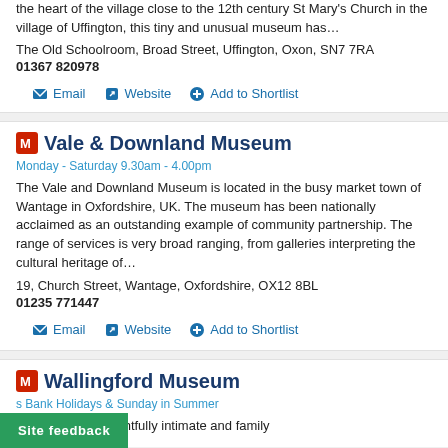the heart of the village close to the 12th century St Mary's Church in the village of Uffington, this tiny and unusual museum has…
The Old Schoolroom, Broad Street, Uffington, Oxon, SN7 7RA
01367 820978
Email  Website  Add to Shortlist
Vale & Downland Museum
Monday - Saturday 9.30am - 4.00pm
The Vale and Downland Museum is located in the busy market town of Wantage in Oxfordshire, UK. The museum has been nationally acclaimed as an outstanding example of community partnership. The range of services is very broad ranging, from galleries interpreting the cultural heritage of…
19, Church Street, Wantage, Oxfordshire, OX12 8BL
01235 771447
Email  Website  Add to Shortlist
Wallingford Museum
s Bank Holidays & Sunday in Summer
is a colourful, delightfully intimate and family
Site feedback